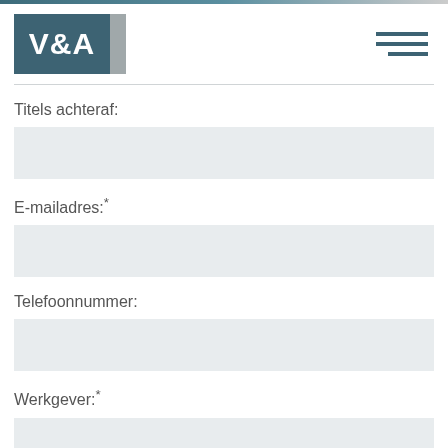[Figure (logo): V&A logo with teal background and grey stripe, hamburger menu icon on right]
Titels achteraf:
E-mailadres:*
Telefoonnummer:
Werkgever:*